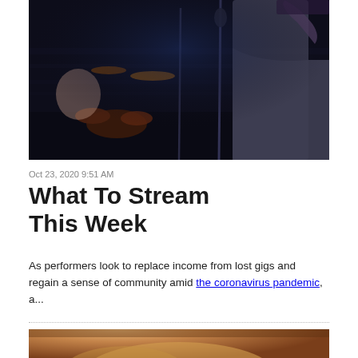[Figure (photo): A performer on stage in a dark venue, wearing a grey dress and standing at a microphone. Drum kit visible in the background to the left, stage lighting in dark blue tones.]
Oct 23, 2020 9:51 AM
What To Stream This Week
As performers look to replace income from lost gigs and regain a sense of community amid the coronavirus pandemic, a...
[Figure (photo): Partial view of a person's head/face, warm brown tones, partially cropped at bottom of page.]